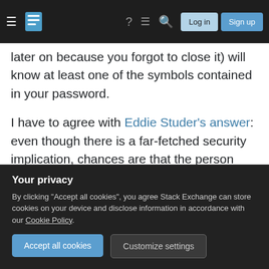Stack Exchange navigation bar with hamburger menu, logo, help, chat, search icons, Log in and Sign up buttons
later on because you forgot to close it) will know at least one of the symbols contained in your password.
I have to agree with Eddie Studer's answer: even though there is a far-fetched security implication, chances are that the person telling you about this had no clue as to the real reason behind that policy. It might however have been the availability problem I mentioned up front, of users not being able to log in e.g. from internet cafes in foreign countries. Just to provide one alternative to the injection concerns
Your privacy
By clicking "Accept all cookies", you agree Stack Exchange can store cookies on your device and disclose information in accordance with our Cookie Policy.
Accept all cookies
Customize settings